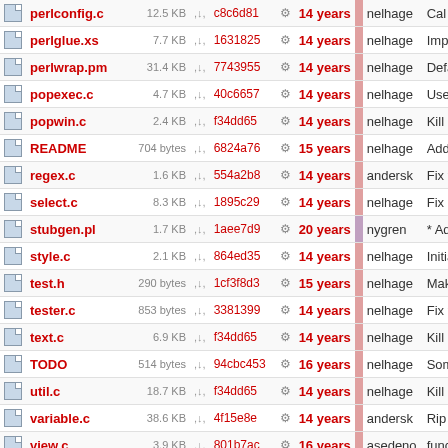|  | Name | Size |  | Hash |  | Age |  | Author | Description |
| --- | --- | --- | --- | --- | --- | --- | --- | --- | --- |
|  | perlconfig.c | 12.5 KB | ↓ | c8c6d81 | ⚙ | 14 years |  | nelhage | Cal per... |
|  | perlglue.xs | 7.7 KB | ↓ | 1631825 | ⚙ | 14 years |  | nelhage | Implemen... |
|  | perlwrap.pm | 31.4 KB | ↓ | 7743955 | ⚙ | 14 years |  | nelhage | Default st... |
|  | popexec.c | 4.7 KB | ↓ | 40c6657 | ⚙ | 14 years |  | nelhage | Use owl_s... |
|  | popwin.c | 2.4 KB | ↓ | f34dd65 | ⚙ | 14 years |  | nelhage | Kill a who... |
|  | README | 704 bytes | ↓ | 6824a76 | ⚙ | 15 years |  | nelhage | Adding a... |
|  | regex.c | 1.6 KB | ↓ | 554a2b8 | ⚙ | 14 years |  | andersk | Fix forma... |
|  | select.c | 8.3 KB | ↓ | 1895c29 | ⚙ | 14 years |  | nelhage | Fix owl_s... |
|  | stubgen.pl | 1.7 KB | ↓ | 1aee7d9 | ⚙ | 20 years |  | nygren | * Added R... |
|  | style.c | 2.1 KB | ↓ | 864ed35 | ⚙ | 14 years |  | nelhage | Initial step... |
|  | test.h | 290 bytes | ↓ | 1cf3f8d3 | ⚙ | 15 years |  | nelhage | Make the... |
|  | tester.c | 853 bytes | ↓ | 3381399 | ⚙ | 14 years |  | nelhage | Fix the re... |
|  | text.c | 6.9 KB | ↓ | f34dd65 | ⚙ | 14 years |  | nelhage | Kill a who... |
|  | TODO | 514 bytes | ↓ | 94cbc453 | ⚙ | 16 years |  | nelhage | Some TO... |
|  | util.c | 18.7 KB | ↓ | f34dd65 | ⚙ | 14 years |  | nelhage | Kill a who... |
|  | variable.c | 38.6 KB | ↓ | 4f15e8e | ⚙ | 14 years |  | andersk | Rip out th... |
|  | view.c | 3.9 KB | ↓ | 801b7ac | ⚙ | 16 years |  | asedeno | functions.... |
|  | viewwin.c | 3.7 KB | ↓ | 47519e1b | ⚙ | 15 years |  | asedeno | text entry:... |
|  | wcwidth.c | 13.6 KB | ↓ | 49a8434 | ⚙ | 14 years |  | nelhage | Fix three... |